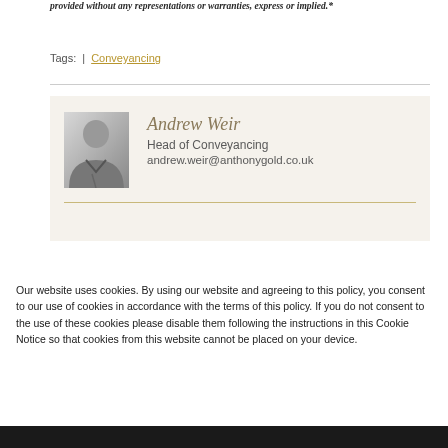provided without any representations or warranties, express or implied.*
Tags:  |  Conveyancing
[Figure (infographic): Author card with photo of Andrew Weir, Head of Conveyancing, email andrew.weir@anthonygold.co.uk, on a beige/cream background]
Our website uses cookies. By using our website and agreeing to this policy, you consent to our use of cookies in accordance with the terms of this policy. If you do not consent to the use of these cookies please disable them following the instructions in this Cookie Notice so that cookies from this website cannot be placed on your device.